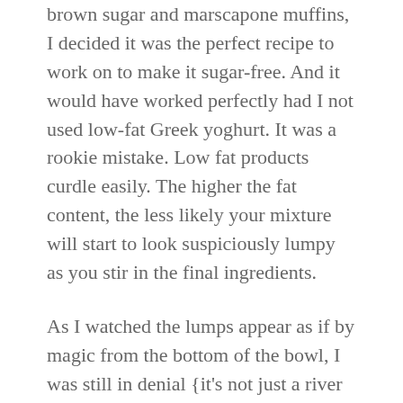brown sugar and marscapone muffins, I decided it was the perfect recipe to work on to make it sugar-free. And it would have worked perfectly had I not used low-fat Greek yoghurt. It was a rookie mistake. Low fat products curdle easily. The higher the fat content, the less likely your mixture will start to look suspiciously lumpy as you stir in the final ingredients.
As I watched the lumps appear as if by magic from the bottom of the bowl, I was still in denial {it's not just a river in Egypt *tish, boom* … sorry, bad Dad joke}. Maybe, I thought to myself, it's just the lemon. Yeah, maybe not.
Not to be deterred, I decided to bake a few and see how they turned out. FAIL. Even though they smelled really good. So I'll try again, and hopefully share a